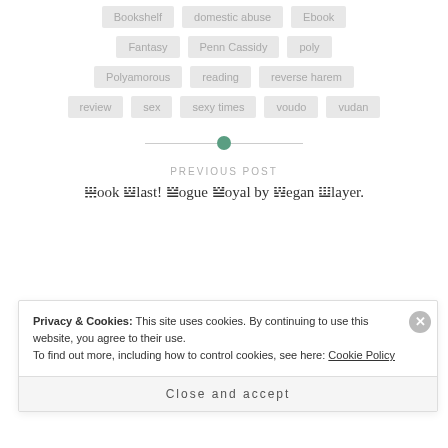Bookshelf
domestic abuse
Ebook
Fantasy
Penn Cassidy
poly
Polyamorous
reading
reverse harem
review
sex
sexy times
voudo
vudan
PREVIOUS POST
Book Blast! Rogue Royal by Megan Slayer.
Privacy & Cookies: This site uses cookies. By continuing to use this website, you agree to their use. To find out more, including how to control cookies, see here: Cookie Policy
Close and accept